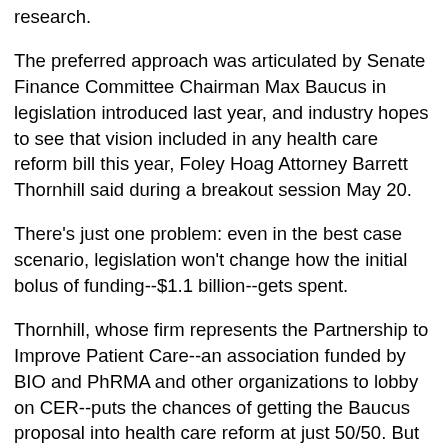research.
The preferred approach was articulated by Senate Finance Committee Chairman Max Baucus in legislation introduced last year, and industry hopes to see that vision included in any health care reform bill this year, Foley Hoag Attorney Barrett Thornhill said during a breakout session May 20.
There's just one problem: even in the best case scenario, legislation won't change how the initial bolus of funding--$1.1 billion--gets spent.
Thornhill, whose firm represents the Partnership to Improve Patient Care--an association funded by BIO and PhRMA and other organizations to lobby on CER--puts the chances of getting the Baucus proposal into health care reform at just 50/50. But even it if is included and signed into law this fall, he notes, a new institute won't be set up until the end of 2010 at the earliest, with research projects beginning no earlier than 2011.
So "you have this gap between when the [stimulus] funding